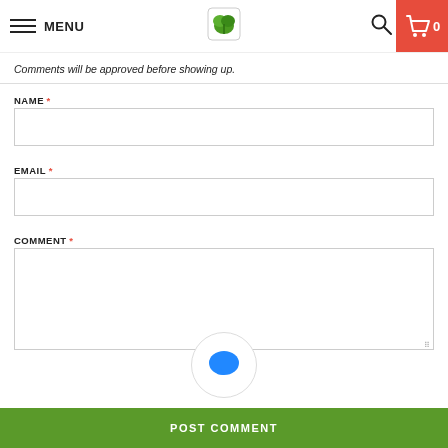MENU
Comments will be approved before showing up.
NAME *
EMAIL *
COMMENT *
[Figure (illustration): Blue speech bubble / chat icon inside a white circle with light border]
POST COMMENT